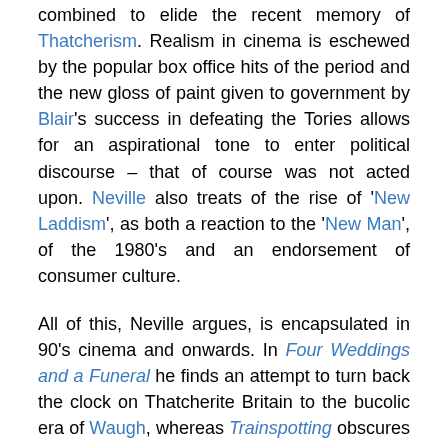combined to elide the recent memory of Thatcherism. Realism in cinema is eschewed by the popular box office hits of the period and the new gloss of paint given to government by Blair's success in defeating the Tories allows for an aspirational tone to enter political discourse – that of course was not acted upon. Neville also treats of the rise of 'New Laddism', as both a reaction to the 'New Man', of the 1980's and an endorsement of consumer culture.
All of this, Neville argues, is encapsulated in 90's cinema and onwards. In Four Weddings and a Funeral he finds an attempt to turn back the clock on Thatcherite Britain to the bucolic era of Waugh, whereas Trainspotting obscures the realities of drug addiction and a crime-ridden underclass by fixating on the notion of 'choice'. This nominally